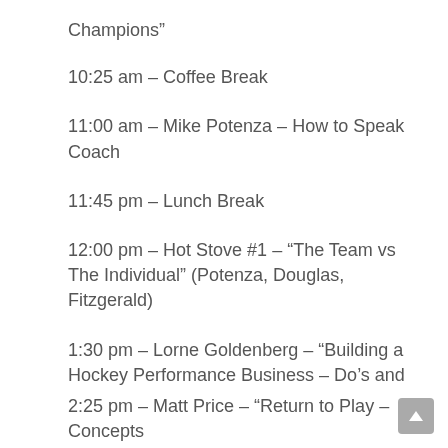Champions”
10:25 am – Coffee Break
11:00 am – Mike Potenza – How to Speak Coach
11:45 pm – Lunch Break
12:00 pm – Hot Stove #1 – “The Team vs The Individual” (Potenza, Douglas, Fitzgerald)
1:30 pm – Lorne Goldenberg – “Building a Hockey Performance Business – Do’s and Don’ts”
2:15 pm – Transition
2:25 pm – Matt Price – “Return to Play – Concepts